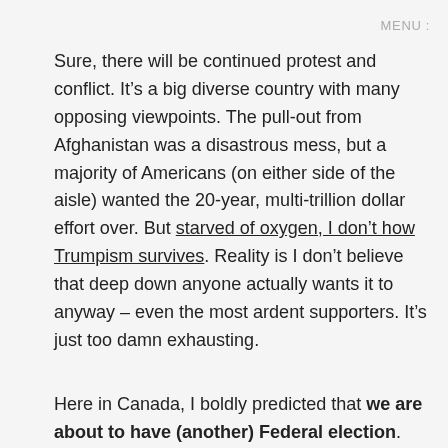MENU :
Sure, there will be continued protest and conflict. It’s a big diverse country with many opposing viewpoints. The pull-out from Afghanistan was a disastrous mess, but a majority of Americans (on either side of the aisle) wanted the 20-year, multi-trillion dollar effort over. But starved of oxygen, I don’t how Trumpism survives. Reality is I don’t believe that deep down anyone actually wants it to anyway – even the most ardent supporters. It’s just too damn exhausting.
Here in Canada, I boldly predicted that we are about to have (another) Federal election. My reasoning? Because the Liberals are sharks while the opposition is basically a couple of muppets with paper cuts flailing in the water. My reasoning was that if the tide turns against the